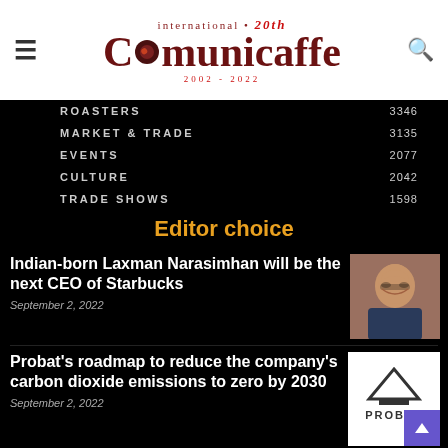International Comunicaffe 20th anniversary — 2002-2022
ROASTERS 3346
MARKET & TRADE 3135
EVENTS 2077
CULTURE 2042
TRADE SHOWS 1598
Editor choice
Indian-born Laxman Narasimhan will be the next CEO of Starbucks
September 2, 2022
[Figure (photo): Portrait photo of Laxman Narasimhan, a man with glasses smiling, wearing a suit]
Probat's roadmap to reduce the company's carbon dioxide emissions to zero by 2030
September 2, 2022
[Figure (logo): Probat company logo — stylized mountain/roof shape above text PROBAT on white background]